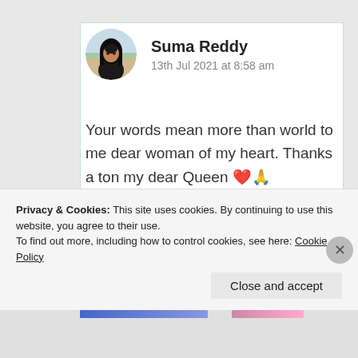[Figure (photo): Circular avatar photo of Suma Reddy, a young woman with dark hair]
Suma Reddy
13th Jul 2021 at 8:58 am
Your words mean more than world to me dear woman of my heart. Thanks a ton my dear Queen ❤️🙏
★ Like
Log in to Reply
Privacy & Cookies: This site uses cookies. By continuing to use this website, you agree to their use.
To find out more, including how to control cookies, see here: Cookie Policy
Close and accept